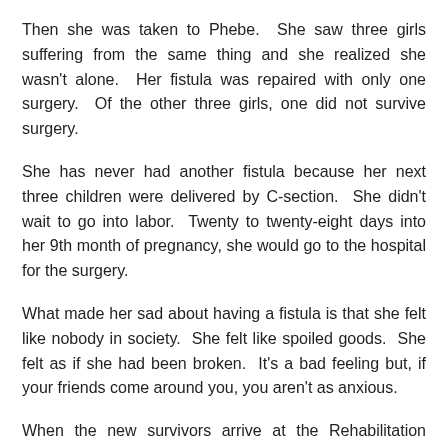Then she was taken to Phebe. She saw three girls suffering from the same thing and she realized she wasn't alone. Her fistula was repaired with only one surgery. Of the other three girls, one did not survive surgery.
She has never had another fistula because her next three children were delivered by C-section. She didn't wait to go into labor. Twenty to twenty-eight days into her 9th month of pregnancy, she would go to the hospital for the surgery.
What made her sad about having a fistula is that she felt like nobody in society. She felt like spoiled goods. She felt as if she had been broken. It's a bad feeling but, if your friends come around you, you aren't as anxious.
When the new survivors arrive at the Rehabilitation Center, she likes to draw close to them so they know they are not alone. Even though she's the matron, she wants them to feel they are like her. She wants them to know that she was like them before. She teaches the girls how to fold their clothes so that their urine doesn't leak through. It